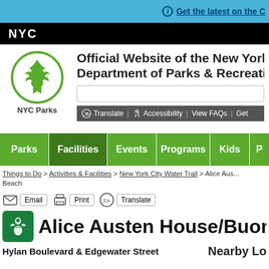Get the latest on the C
[Figure (logo): NYC black bar logo]
[Figure (logo): NYC Parks leaf logo in green circle]
Official Website of the New York Department of Parks & Recreation
[Figure (screenshot): Search input box]
Translate | Accessibility | View FAQs | Get
Parks | Facilities | Events | Programs | Kids | P
Things to Do > Activities & Facilities > New York City Water Trail > Alice Aus... Beach
Email  Print  Translate
Alice Austen House/Buono
Hylan Boulevard & Edgewater Street
Nearby Lo